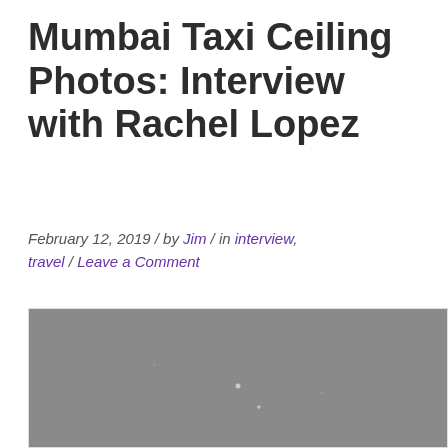Mumbai Taxi Ceiling Photos: Interview with Rachel Lopez
February 12, 2019 / by Jim / in interview, travel / Leave a Comment
[Figure (photo): Two photos side by side: left shows colorful abstract mosaic art on a Mumbai taxi ceiling with geometric shapes in many colors; right shows a gray textured panel.]